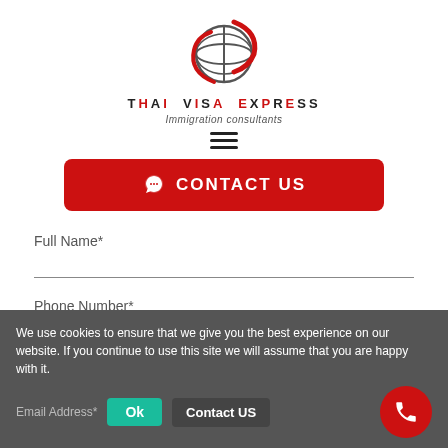[Figure (logo): Thai Visa Express logo: globe with red swoosh]
THAI VISA EXPRESS
Immigration consultants
[Figure (other): Hamburger menu icon (three horizontal lines)]
CONTACT US (button)
Full Name*
Phone Number*
We use cookies to ensure that we give you the best experience on our website. If you continue to use this site we will assume that you are happy with it.
Email Address*
Ok
Contact US